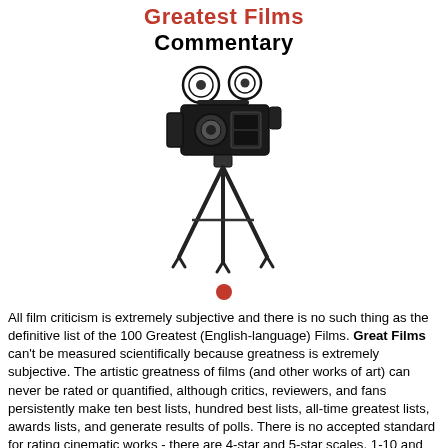Greatest Films Commentary
[Figure (illustration): Vintage movie camera on tripod, black and white line art illustration]
All film criticism is extremely subjective and there is no such thing as the definitive list of the 100 Greatest (English-language) Films. Great Films can't be measured scientifically because greatness is extremely subjective. The artistic greatness of films (and other works of art) can never be rated or quantified, although critics, reviewers, and fans persistently make ten best lists, hundred best lists, all-time greatest lists, awards lists, and generate results of polls. There is no accepted standard for rating cinematic works - there are 4-star and 5-star scales, 1-10 and percentage ratings, letter grades, fresh/rotten tomatoes meters, and thumbs up/down judgments, to